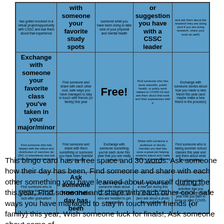[Figure (other): A 5x4 bingo card with a blue background. The card contains various community/social interaction prompts. The center cell of row 2 says 'Free!'. Row 1 (partial, top cut off): col1 involves virtual project with CSSC, col2 share favorite study spots, col3 share what you have been doing to take care of physical and mental health, col4 share an opinion or suggestion with a CSSC leader, col5 find research and ask about it. Row 2: col1 Exchange favorite class in major/minor, col2 Find someone and share cool safe ways to stay in touch with friends (or family) this year, col3 Free!, col4 Find someone who has done scientific/public health/policy work related to COVID-19, col5 Exchange stories about new friends. Row 3: col1 Find someone who has helped with rollout and distribution of vaccines, col2 Find someone and share something or someone you have been thankful for this year, col3 Exchange with someone something you've each done this year that you are really proud of, col4 Share with someone a professor or faculty member you feel has done a great job helping students, col5 Find someone who is taking summer school classes. Row 4: col1 Find someone who is graduating this semester, col2 Ask someone how their day has been (large text), col3 Exchange ideas about how you can persuade and encourage those who are hesitant to get vaccinated, col4 Find someone who got a new pet during this year, col5 Exchange habits or activities developed during this year.]
This bingo card has a free space and 30 words: Ask someone how their day has been, Find someone and share with each other something you have learned about yourself during the this year, Find someone and share with each other cool, safe ways you have managed to stay in touch with friends (or family) this year, Wish someone luck for finals!, Ask someone about some of